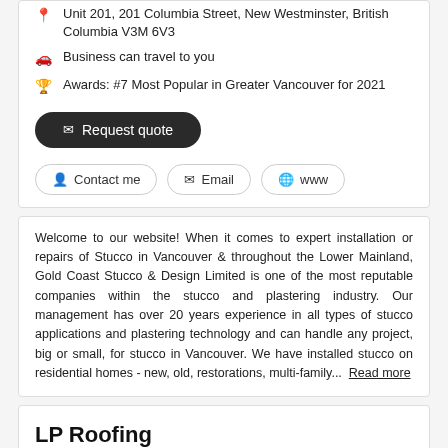Unit 201, 201 Columbia Street, New Westminster, British Columbia V3M 6V3
Business can travel to you
Awards: #7 Most Popular in Greater Vancouver for 2021
Request quote
Contact me | Email | www
Welcome to our website! When it comes to expert installation or repairs of Stucco in Vancouver & throughout the Lower Mainland, Gold Coast Stucco & Design Limited is one of the most reputable companies within the stucco and plastering industry. Our management has over 20 years experience in all types of stucco applications and plastering technology and can handle any project, big or small, for stucco in Vancouver. We have installed stucco on residential homes - new, old, restorations, multi-family...  Read more
LP Roofing
Building & Construction > Carpenters